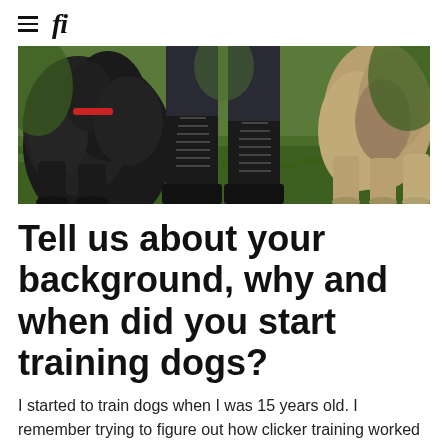fi
[Figure (photo): Close-up photo of dog paws and human boots standing on green grass, showing a black curly-haired dog on the left and a dog with lighter legs on the right, with black lace-up boots in the center.]
Tell us about your background, why and when did you start training dogs?
I started to train dogs when I was 15 years old. I remember trying to figure out how clicker training worked and how can this clicker actually help me train and accomplish specific behaviors in my dog (at the